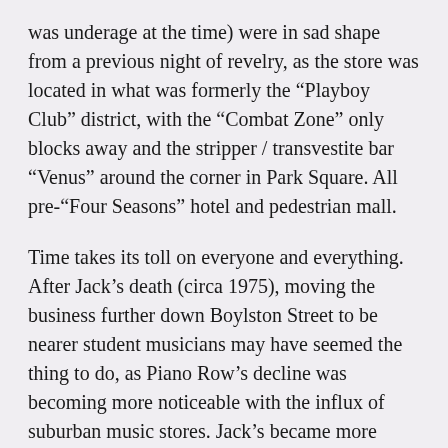was underage at the time) were in sad shape from a previous night of revelry, as the store was located in what was formerly the “Playboy Club” district, with the “Combat Zone” only blocks away and the stripper / transvestite bar “Venus” around the corner in Park Square. All pre-“Four Seasons” hotel and pedestrian mall.
Time takes its toll on everyone and everything. After Jack’s death (circa 1975), moving the business further down Boylston Street to be nearer student musicians may have seemed the thing to do, as Piano Row’s decline was becoming more noticeable with the influx of suburban music stores. Jack’s became more suburban themselves with the opening of their Norwood store and later with their Hyannis branch. In a trip by the Jack’s Boylston Street location last summer, their storefront was now a vacant expanse: up for the next tenant to resume the lease — leaving